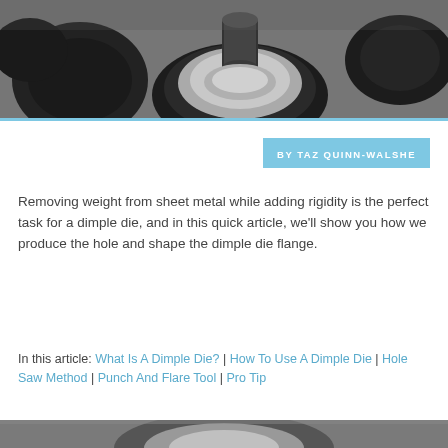[Figure (photo): Close-up photo of metal dimple die tools — cylindrical black and silver metal components on a gray surface]
BY TAZ QUINN-WALSHE
Removing weight from sheet metal while adding rigidity is the perfect task for a dimple die, and in this quick article, we'll show you how we produce the hole and shape the dimple die flange.
In this article: What Is A Dimple Die? | How To Use A Dimple Die | Hole Saw Method | Punch And Flare Tool | Pro Tip
[Figure (photo): Partial photo of a circular metal dimple die component, silver/gray coloring, viewed from above on a gray background]